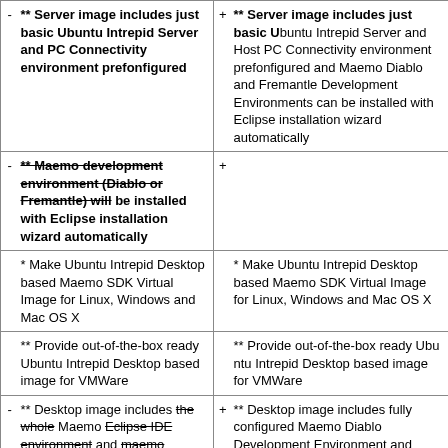| - | ** Server image includes just basic Ubuntu Intrepid Server and PC Connectivity environment prefonfigured | + | ** Server image includes just basic Ubuntu Intrepid Server and Host PC Connectivity environment prefonfigured and Maemo Diablo and Fremantle Development Environments can be installed with Eclipse installation wizard automatically |
| - | ** Maemo development environment (Diablo or Fremantle) will be installed with Eclipse installation wizard automatically | + |  |
|  | * Make Ubuntu Intrepid Desktop based Maemo SDK Virtual Image for Linux, Windows and Mac OS X |  | * Make Ubuntu Intrepid Desktop based Maemo SDK Virtual Image for Linux, Windows and Mac OS X |
|  | ** Provide out-of-the-box ready Ubuntu Intrepid Desktop based image for VMWare |  | ** Provide out-of-the-box ready Ubuntu Intrepid Desktop based image for VMWare |
| - | ** Desktop image includes the whole Maemo Eclipse IDE environment and maemo Fremantle SDK preconfigured | + | ** Desktop image includes fully configured Maemo Diablo Development Environment and Fremantle Development Environment can be installed with Eclipse installation wizard automatically |